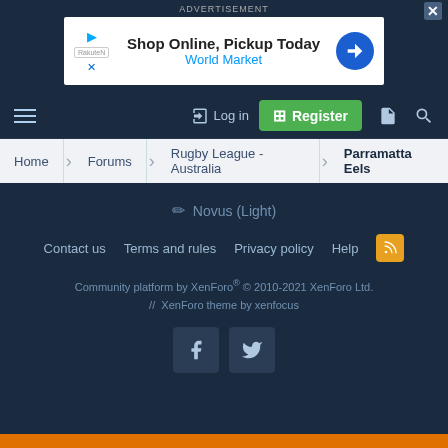ADVERTISEMENT
[Figure (screenshot): Advertisement banner for World Market: 'Shop Online, Pickup Today' with a blue diamond arrow icon on the right.]
≡  Log in  Register
Home > Forums > Rugby League - Australia > Parramatta Eels
✏ Novus (Light)
Contact us   Terms and rules   Privacy policy   Help   [RSS]
Community platform by XenForo® © 2010-2021 XenForo Ltd. // XenForo theme by xenfocus
[Figure (logo): Facebook and Twitter social media icon buttons]